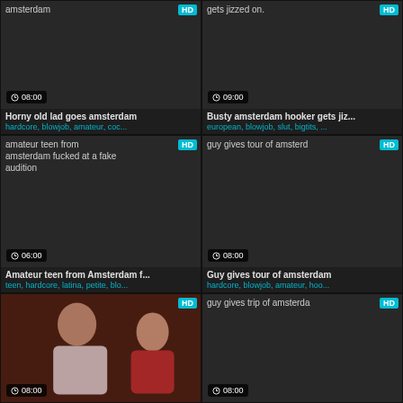[Figure (screenshot): Video thumbnail - Horny old lad goes amsterdam, HD badge, 08:00 duration]
Horny old lad goes amsterdam
hardcore, blowjob, amateur, coc...
[Figure (screenshot): Video thumbnail - Busty amsterdam hooker gets jizzed on, HD badge, 09:00 duration]
Busty amsterdam hooker gets jiz...
european, blowjob, slut, bigtits, ...
[Figure (screenshot): Video thumbnail - amateur teen from amsterdam fucked at a fake audition, HD badge, 06:00 duration]
Amateur teen from Amsterdam f...
teen, hardcore, latina, petite, blo...
[Figure (screenshot): Video thumbnail - guy gives tour of amsterdam, HD badge, 08:00 duration]
Guy gives tour of amsterdam
hardcore, blowjob, amateur, hoo...
[Figure (screenshot): Video thumbnail with actual photo showing people, HD badge, 08:00 duration]
[Figure (screenshot): Video thumbnail - guy gives trip of amsterdam, HD badge, 08:00 duration]